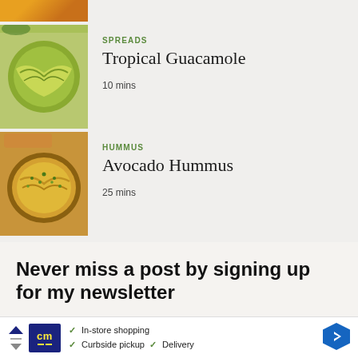[Figure (photo): Partial view of a food dish at the top of the page (cropped)]
[Figure (photo): Bowl of Tropical Guacamole - green avocado spread in a round bowl]
SPREADS
Tropical Guacamole
10 mins
[Figure (photo): Bowl of Avocado Hummus - yellow-green hummus with herb garnish in a bowl]
HUMMUS
Avocado Hummus
25 mins
Never miss a post by signing up for my newsletter
[Figure (screenshot): Advertisement banner: CM logo with checkmarks for In-store shopping, Curbside pickup, Delivery]